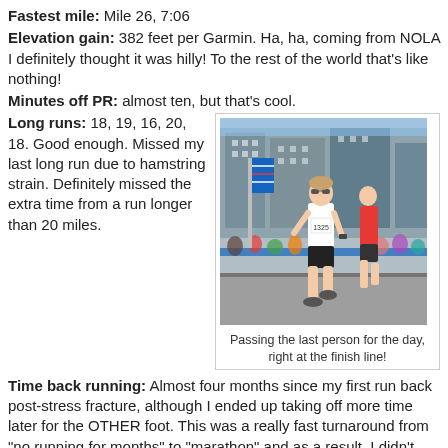Fastest mile: Mile 26, 7:06
Elevation gain: 382 feet per Garmin. Ha, ha, coming from NOLA I definitely thought it was hilly! To the rest of the world that's like nothing!
Minutes off PR: almost ten, but that's cool.
Long runs: 18, 19, 16, 20, 18. Good enough. Missed my last long run due to hamstring strain. Definitely missed the extra time from a run longer than 20 miles.
[Figure (photo): A female runner wearing bib number 1325 racing on a city street, passing another runner near the finish line of a marathon. Spectators line the course behind barriers, and city buildings are visible in the background. An American flag and race banner are visible.]
Passing the last person for the day, right at the finish line!
Time back running: Almost four months since my first run back post-stress fracture, although I ended up taking off more time later for the OTHER foot. This was a really fast turnaround from "no running for months" to "marathon" and as a result, I didn't have much of a base. Do not recommend